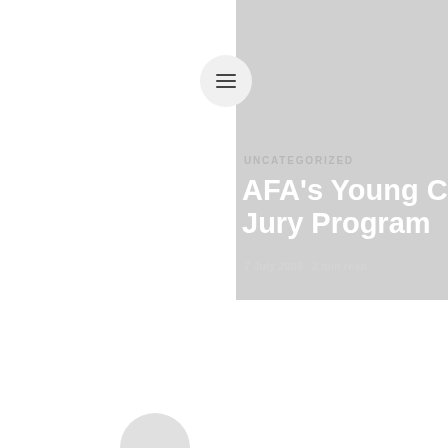[Figure (screenshot): Website screenshot showing a gray hero panel on the right half with a hamburger menu button, category label UNCATEGORIZED, article title AFA's Young C... / Jury Program..., date 7 July 2008, and 2 min read. White area on the left.]
UNCATEGORIZED
AFA's Young C... Jury Program...
7 July 2008   2 min read